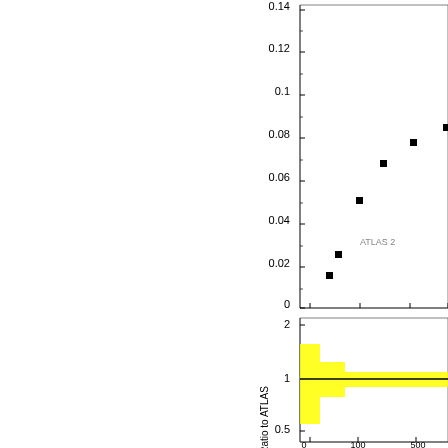[Figure (continuous-plot): Partial view of a two-panel physics plot. Top panel: scatter plot of data points (black squares) showing values from approximately 0 to 0.14 on y-axis, rising trend visible. Text label 'ATLAS 2' visible in plot area. Bottom panel: ratio plot labeled 'Ratio to ATLAS' on y-axis, with yellow uncertainty band around a black horizontal line at ratio=1. X-axis shows values from 0 to ~500+. Only the right portion of both panels is visible.]